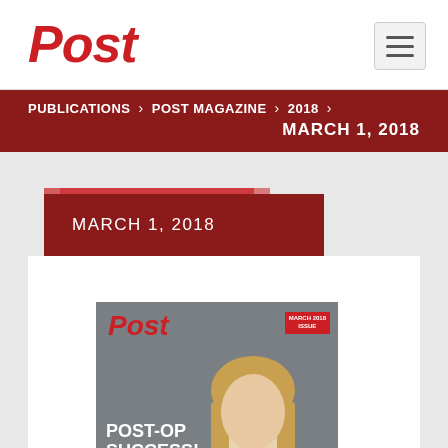Post
PUBLICATIONS > POST MAGAZINE > 2018 > MARCH 1, 2018
MARCH 1, 2018
[Figure (photo): Post Magazine cover for March 1, 2018. Shows a woman in a white lab coat. Headline reads POST-OP SUCCESS!. Red Post logo in top left. Small red tag in top right corner.]